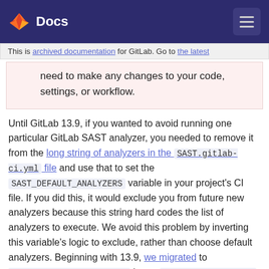Docs
This is archived documentation for GitLab. Go to the latest...
need to make any changes to your code, settings, or workflow.
Until GitLab 13.9, if you wanted to avoid running one particular GitLab SAST analyzer, you needed to remove it from the long string of analyzers in the SAST.gitlab-ci.yml file and use that to set the SAST_DEFAULT_ANALYZERS variable in your project's CI file. If you did this, it would exclude you from future new analyzers because this string hard codes the list of analyzers to execute. We avoid this problem by inverting this variable's logic to exclude, rather than choose default analyzers. Beginning with 13.9, we migrated to SAST_EXCLUDED_ANALYZERS in our SAST.gitlab-ci.yml file. We encourage anyone who uses a customized SAST configuration in their project CI file to migrate to this new